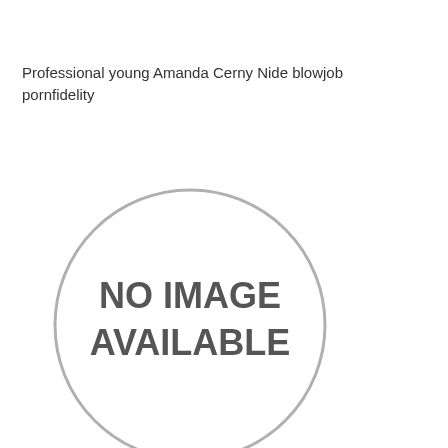Professional young Amanda Cerny Nide blowjob pornfidelity
[Figure (other): No image available placeholder - a circle with grey border and text 'NO IMAGE AVAILABLE' inside]